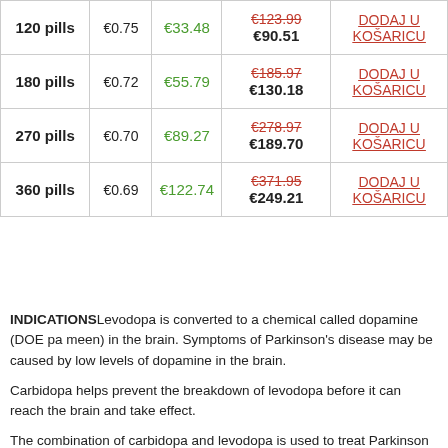|  | Per pill | Our price | Old price / Sale | Action |
| --- | --- | --- | --- | --- |
| 120 pills | €0.75 | €33.48 | €123.99 €90.51 | DODAJ U KOŠARICU |
| 180 pills | €0.72 | €55.79 | €185.97 €130.18 | DODAJ U KOŠARICU |
| 270 pills | €0.70 | €89.27 | €278.97 €189.70 | DODAJ U KOŠARICU |
| 360 pills | €0.69 | €122.74 | €371.95 €249.21 | DODAJ U KOŠARICU |
INDICATIONSLevodopa is converted to a chemical called dopamine (DOE pa meen) in the brain. Symptoms of Parkinson's disease may be caused by low levels of dopamine in the brain.
Carbidopa helps prevent the breakdown of levodopa before it can reach the brain and take effect.
The combination of carbidopa and levodopa is used to treat Parkinson symptoms such as muscle stiffness, tremors, spasms, and poor muscle control. This medication is also used to treat Parkinson symptoms caused by carbon monoxide poisoning or manganese intoxication.
Carbidopa and levodopa may also be used for other purposes not listed in